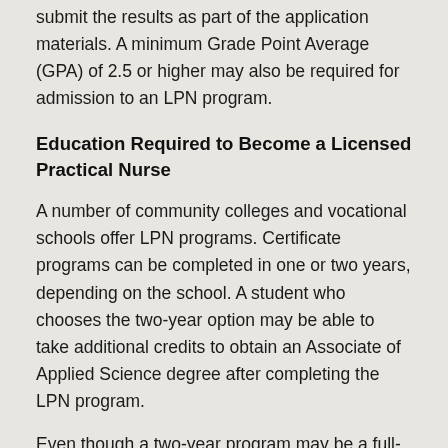submit the results as part of the application materials. A minimum Grade Point Average (GPA) of 2.5 or higher may also be required for admission to an LPN program.
Education Required to Become a Licensed Practical Nurse
A number of community colleges and vocational schools offer LPN programs. Certificate programs can be completed in one or two years, depending on the school. A student who chooses the two-year option may be able to take additional credits to obtain an Associate of Applied Science degree after completing the LPN program.
Even though a two-year program may be a full-time commitment, some schools may offer classes evening and weekend classes, with a lab one afternoon per